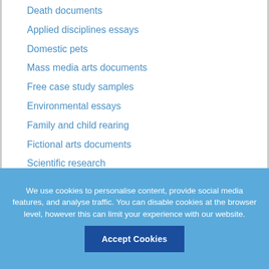Death documents
Applied disciplines essays
Domestic pets
Mass media arts documents
Free case study samples
Environmental essays
Family and child rearing
Fictional arts documents
Scientific research
Medicine
Athletics
Skill and entertainment
We use cookies to personalise content, provide social media features, and analyse traffic. You can disable cookies at the browser level, however this can limit your experience with our website.
Accept Cookies